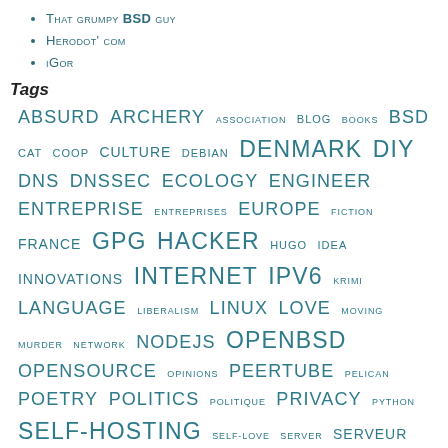That grumpy BSD guy
Herodot' com
iGor
Tags
ABSURD ARCHERY ASSOCIATION BLOG BOOKS BSD CAT COOP CULTURE DEBIAN DENMARK DIY DNS DNSSEC ECOLOGY ENGINEER ENTREPRISE ENTREPRISES EUROPE FICTION FRANCE GPG HACKER HUGO IDEA INNOVATIONS INTERNET IPV6 KRIMI LANGUAGE LIBERALISM LINUX LOVE MOVING MURDER NETWORK NODEJS OPENBSD OPENSOURCE OPINIONS PEERTUBE PELICAN POETRY POLITICS POLITIQUE PRIVACY PYTHON SELF-HOSTING SELF-LOVE SERVER SERVEUR SOFTWARES SSL TECHNOLOGY TELEPHONE THRILLER TLS TRAVAIL TRAVEL VACATIONS